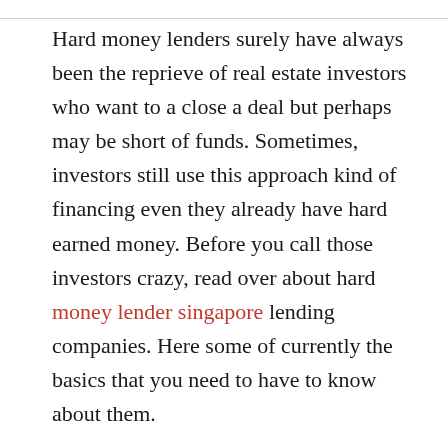Hard money lenders surely have always been the reprieve of real estate investors who want to a close a deal but perhaps may be short of funds. Sometimes, investors still use this approach kind of financing even they already have hard earned money. Before you call those investors crazy, read over about hard money lender singapore lending companies. Here some of currently the basics that you need to have to know about them.
They are easier if you want to convince compared to financial and traditional lenders. People have called hard personal savings financing “easy access to assist you credit” and why not. Because hard money lenders,